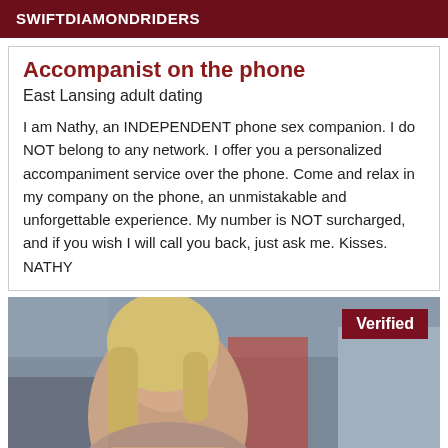SWIFTDIAMONDRIDERS
Accompanist on the phone
East Lansing adult dating
I am Nathy, an INDEPENDENT phone sex companion. I do NOT belong to any network. I offer you a personalized accompaniment service over the phone. Come and relax in my company on the phone, an unmistakable and unforgettable experience. My number is NOT surcharged, and if you wish I will call you back, just ask me. Kisses. NATHY
[Figure (photo): Photo of a young blonde woman leaning on a railing outdoors, with a 'Verified' badge in the top right corner]